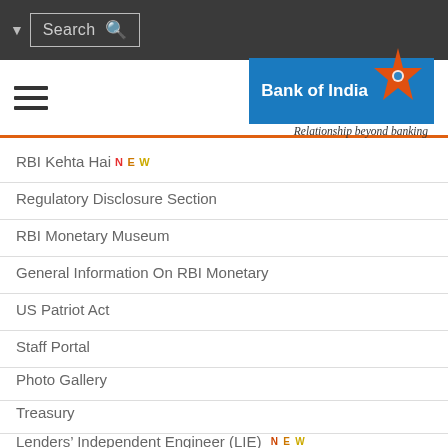[Figure (screenshot): Bank of India website navigation screenshot showing search bar, hamburger menu, Bank of India logo with star, and navigation menu items]
RBI Kehta Hai NEW
Regulatory Disclosure Section
RBI Monetary Museum
General Information On RBI Monetary
US Patriot Act
Staff Portal
Photo Gallery
Treasury
Lenders' Independent Engineer (LIE) NEW
Auditors Of The Bank
Do Not Call Registry
Sitemap